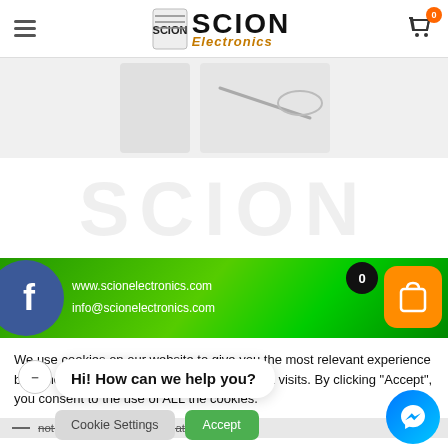SCION Electronics — navigation header with hamburger menu, logo, and cart icon (badge: 0)
[Figure (screenshot): Product image strip showing partial product photos against light grey background]
[Figure (screenshot): Large watermark text 'SCION' in faint grey across the page]
[Figure (screenshot): Green gradient banner with Facebook circle icon on left and contact info: www.scionelectronics.com and info@scionelectronics.com, orange shopping bag icon with counter badge showing 0]
We use cookies on our website to give you the most relevant experience by remembering your preferences and repeat visits. By clicking “Accept”, you consent to the use of ALL the cookies.
not sell my personal information
Hi! How can we help you?
Cookie Settings
Accept